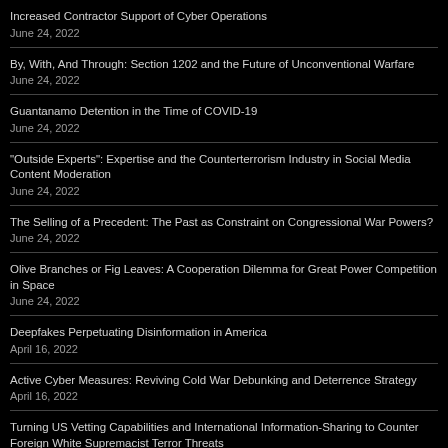Increased Contractor Support of Cyber Operations
June 24, 2022
By, With, And Through: Section 1202 and the Future of Unconventional Warfare
June 24, 2022
Guantanamo Detention in the Time of COVID-19
June 24, 2022
"Outside Experts": Expertise and the Counterterrorism Industry in Social Media Content Moderation
June 24, 2022
The Selling of a Precedent: The Past as Constraint on Congressional War Powers?
June 24, 2022
Olive Branches or Fig Leaves: A Cooperation Dilemma for Great Power Competition in Space
June 24, 2022
Deepfakes Perpetuating Disinformation in America
April 16, 2022
Active Cyber Measures: Reviving Cold War Debunking and Deterrence Strategy
April 16, 2022
Turning US Vetting Capabilities and International Information-Sharing to Counter Foreign White Supremacist Terror Threats
March 12, 2022
War, What is it Good For? Almost Everything: Chinese Strategic Thought and a New U.S.